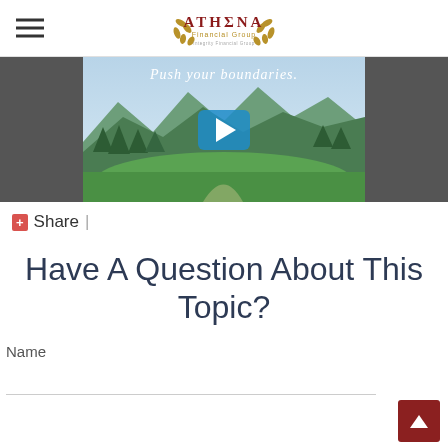[Figure (logo): Athena Financial Group logo with laurel wreath and text]
[Figure (screenshot): Video thumbnail showing mountain landscape with text 'Push your boundaries.' and a play button overlay]
+Share |
Have A Question About This Topic?
Name